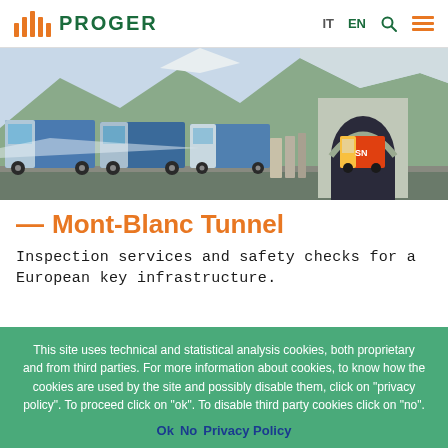PROGER — IT EN
[Figure (photo): Photo of trucks lined up outside the Mont-Blanc Tunnel entrance in a snowy alpine setting. Several large freight trucks with blue containers are visible, along with the circular tunnel arch entrance on the right side.]
— Mont-Blanc Tunnel
Inspection services and safety checks for a European key infrastructure.
This site uses technical and statistical analysis cookies, both proprietary and from third parties. For more information about cookies, to know how the cookies are used by the site and possibly disable them, click on "privacy policy". To proceed click on "ok". To disable third party cookies click on "no".
Ok  No  Privacy Policy